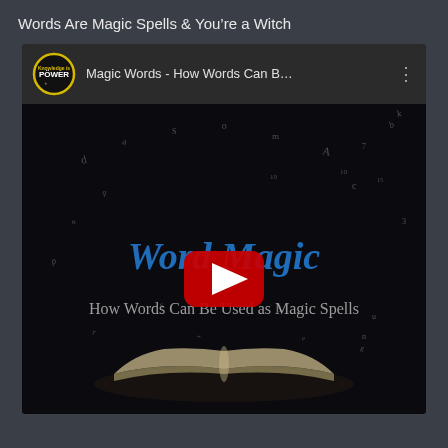Words Are Magic Spells & You're a Witch
[Figure (screenshot): YouTube video embed showing 'Magic Words - How Words Can B...' with channel logo 'Knowledge is POWER' and thumbnail showing an open book with floating letters and text 'Word Magic - How Words Can Be Used as Magic Spells' with YouTube play button overlay]